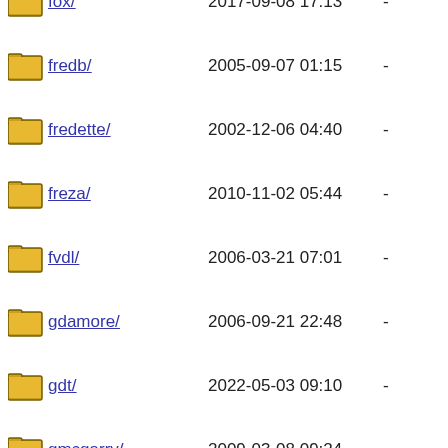fox/ 2017-09-08 17:13 -
fredb/ 2005-09-07 01:15 -
fredette/ 2002-12-06 04:40 -
freza/ 2010-11-02 05:44 -
fvdl/ 2006-03-21 07:01 -
gdamore/ 2006-09-21 22:48 -
gdt/ 2022-05-03 09:10 -
gmcgarry/ 2009-03-08 09:24 -
grant/ 2005-03-06 11:10 -
gson/ 2013-11-03 05:32 -
gsutre/ 2014-10-11 02:45 -
gwr/ 1996-11-10 07:14 -
haad/ 2009-07-19 17:27 -
hamajima/ 2005-11-08 15:51 -
he/ 2022-08-01 03:17 -
heartbleed/ 2014-04-10 05:43 -
hkenken/ 2015-07-15 11:41 -
hnoverl/ 2003-03-07 23:46 -